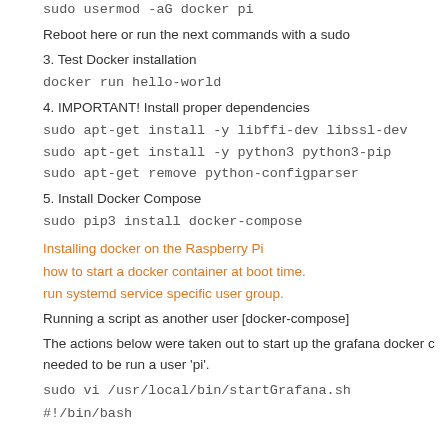sudo usermod -aG docker pi
Reboot here or run the next commands with a sudo
3. Test Docker installation
docker run hello-world
4. IMPORTANT! Install proper dependencies
sudo apt-get install -y libffi-dev libssl-dev
sudo apt-get install -y python3 python3-pip
sudo apt-get remove python-configparser
5. Install Docker Compose
sudo pip3 install docker-compose
Installing docker on the Raspberry Pi
how to start a docker container at boot time.
run systemd service specific user group.
Running a script as another user [docker-compose]
The actions below were taken out to start up the grafana docker c needed to be run a user 'pi'.
sudo vi /usr/local/bin/startGrafana.sh
#!/bin/bash